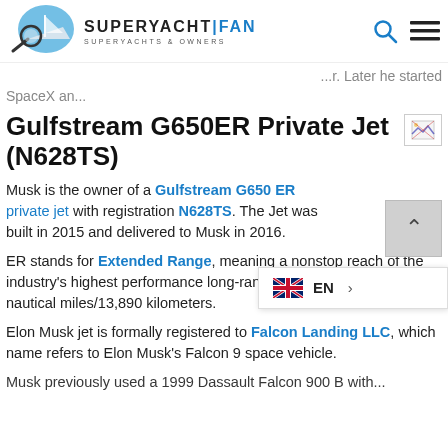SUPERYACHT | FAN  SUPERYACHTS & OWNERS
...later he started SpaceX an...
Gulfstream G650ER Private Jet (N628TS)
Musk is the owner of a Gulfstream G650 ER private jet with registration N628TS. The Jet was built in 2015 and delivered to Musk in 2016.
ER stands for Extended Range, meaning a nonstop reach of the industry's highest performance long-range aircraft of 7,500 nautical miles/13,890 kilometers.
Elon Musk jet is formally registered to Falcon Landing LLC, which name refers to Elon Musk's Falcon 9 space vehicle.
Musk previously used a 1999 Dassault Falcon 900 B with...